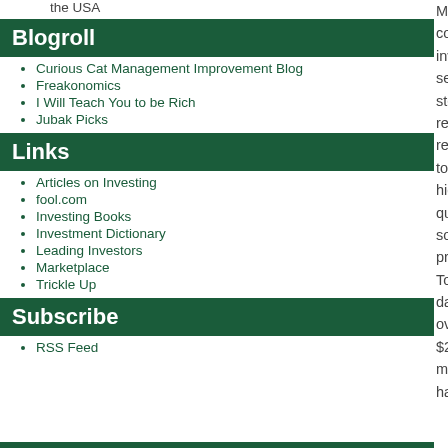the USA
Blogroll
Curious Cat Management Improvement Blog
Freakonomics
I Will Teach You to be Rich
Jubak Picks
Links
Articles on Investing
fool.com
Investing Books
Investment Dictionary
Leading Investors
Marketplace
Trickle Up
Subscribe
RSS Feed
Mosaic connects investors seeking steady, reliable returns to high quality solar projects. To date, over $2.1 million has
January 2014
October 2013
November 2013
September 2013
August 2013
July 2013
June 2013
May 2013
April 2013
March 2013
February 2013
January 2013
December 2012
November 2012
October 2012
September 2012
August 2012
July 2012
June 2012
May 2012